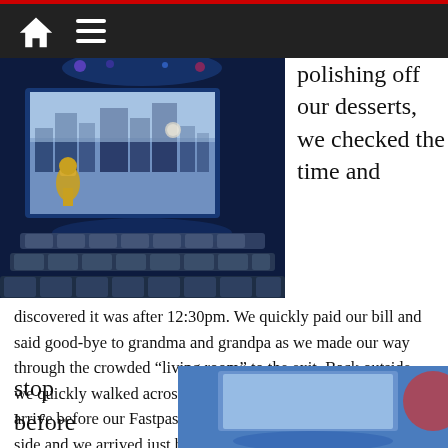[Navigation bar with home icon and menu icon]
[Figure (photo): Interior of a Star Wars-themed theater/attraction with blue lighting, rows of gray seats, and a large screen showing a sci-fi cityscape with a golden robot/statue figure on the left]
polishing off our desserts, we checked the time and discovered it was after 12:30pm. We quickly paid our bill and said good-bye to grandma and grandpa as we made our way through the crowded “living room” to the exit. Back outside, we quickly walked across the Park to Star Tours hoping to arrive before our Fastpass+ window closed. Luck was on our side and we arrived just before 1:00pm with five minutes to spare. Although I’m not a Star Wars fan (she says as she ducks to avoid a devastating light saber blow), I do love this attraction. Our last stop before
[Figure (photo): Partial image of another attraction or scene, partially visible at bottom right of page]